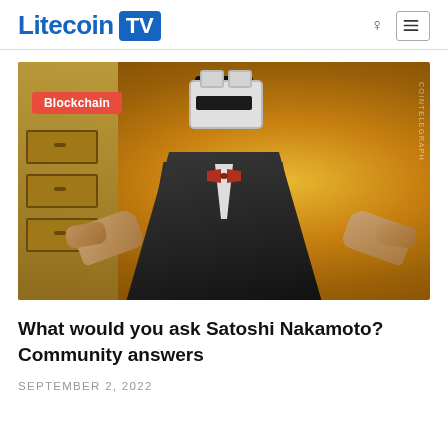Litecoin TV
[Figure (illustration): Illustrated figure of a person in a suit with a Bitcoin mask for a face, sitting with hands spread open, in front of filing cabinets. A red 'Blockchain' tag appears in the upper left of the image. Artwork in golden/amber tones. Watermark text on right edge.]
What would you ask Satoshi Nakamoto? Community answers
SEPTEMBER 2, 2022